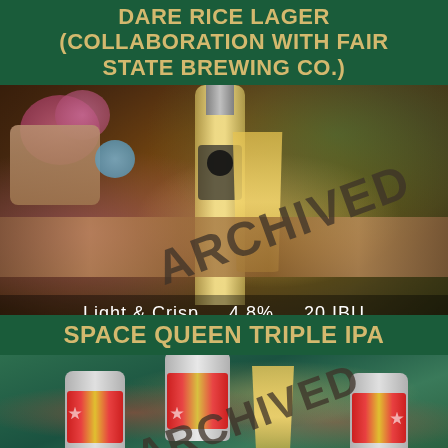DARE RICE LAGER (COLLABORATION WITH FAIR STATE BREWING CO.)
[Figure (photo): Photo of a beer bottle and glass of golden lager on a wooden surface with flowers in background, overlaid with ARCHIVED stamp watermark]
Light & Crisp   4.8%   20 IBU
SPACE QUEEN TRIPLE IPA
[Figure (photo): Photo of colorful branded beer cans and a glass of IPA on a green background, overlaid with ARCHIVED stamp watermark]